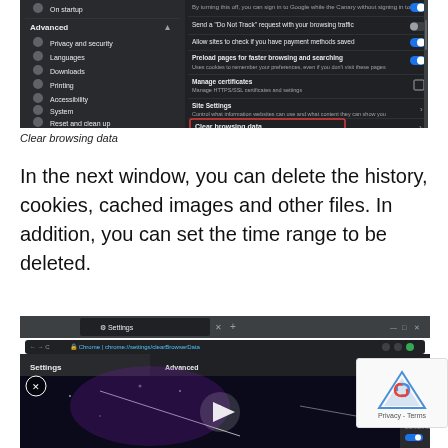[Figure (screenshot): Chrome browser Settings page (dark theme) showing Advanced section with options including Privacy and security, Languages, Downloads, Printing, Accessibility, System, Reset and clean up. Right panel shows various settings toggles. 'Clear browsing data' option is highlighted with a red rectangle border. Below it shows 'Clear history, cookies, cache, and more'.]
Clear browsing data
In the next window, you can delete the history, cookies, cached images and other files. In addition, you can set the time range to be deleted.
[Figure (screenshot): Chrome browser Clear browsing data settings page with a video overlay playing (dark cosmic-themed video with play button). An X close button visible. reCAPTCHA badge in bottom right. Advanced panel visible on the right side of the screenshot.]